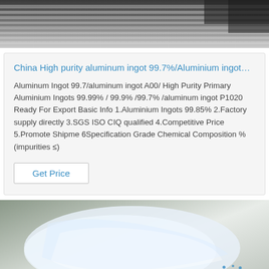[Figure (photo): Top portion of stacked aluminum ingots or metal sheets, shot from below looking up, in grayscale tones]
China High purity aluminum ingot 99.7%/Aluminium ingot…
Aluminum Ingot 99.7/aluminum ingot A00/ High Purity Primary Aluminium Ingots 99.99% / 99.9% /99.7% /aluminum ingot P1020 Ready For Export Basic Info 1.Aluminium Ingots 99.85% 2.Factory supply directly 3.SGS ISO CIQ qualified 4.Competitive Price 5.Promote Shipme 6Specification Grade Chemical Composition % (impurities ≤)
Get Price
[Figure (photo): A person holding a handheld device near a person or object wrapped in clear plastic sheeting, with a TOP logo watermark visible in the lower right corner]